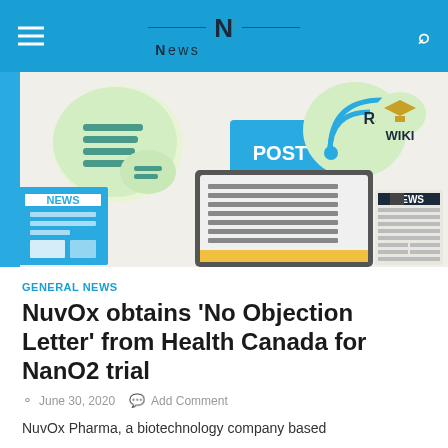NewsIncluded
[Figure (illustration): News media concept illustration showing icons for POST, RSS, WIKI, NEWS documents, and a laptop/tablet with news content on a light background]
GENERAL NEWS
NuvOx obtains ‘No Objection Letter’ from Health Canada for NanO2 trial
June 30, 2020   Add Comment
NuvOx Pharma, a biotechnology company based